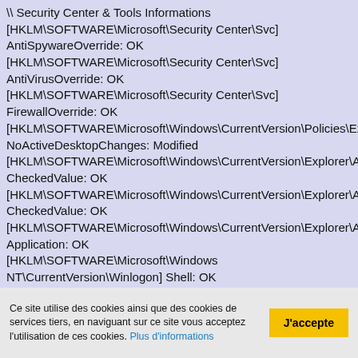\ Security Center & Tools Informations
[HKLM\SOFTWARE\Microsoft\Security Center\Svc]
AntiSpywareOverride: OK
[HKLM\SOFTWARE\Microsoft\Security Center\Svc]
AntiVirusOverride: OK
[HKLM\SOFTWARE\Microsoft\Security Center\Svc]
FirewallOverride: OK
[HKLM\SOFTWARE\Microsoft\Windows\CurrentVersion\Policies\Exp
NoActiveDesktopChanges: Modified
[HKLM\SOFTWARE\Microsoft\Windows\CurrentVersion\Explorer\Ad
CheckedValue: OK
[HKLM\SOFTWARE\Microsoft\Windows\CurrentVersion\Explorer\Ad
CheckedValue: OK
[HKLM\SOFTWARE\Microsoft\Windows\CurrentVersion\Explorer\As
Application: OK
[HKLM\SOFTWARE\Microsoft\Windows NT\CurrentVersion\Winlogon] Shell: OK
[HKCU\SOFTWARE\Microsoft\Windows NT\CurrentVersion\Windows] Load: OK
[HKLM\SOFTWARE\Microsoft\Windows\CurrentVersion\WindowsUn
Ce site utilise des cookies ainsi que des cookies de services tiers, en naviguant sur ce site vous acceptez l'utilisation de ces cookies. Plus d'informations